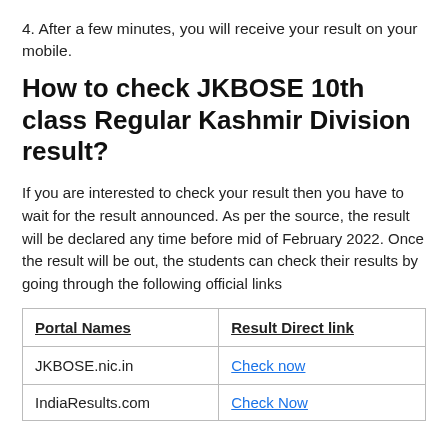4. After a few minutes, you will receive your result on your mobile.
How to check JKBOSE 10th class Regular Kashmir Division result?
If you are interested to check your result then you have to wait for the result announced. As per the source, the result will be declared any time before mid of February 2022. Once the result will be out, the students can check their results by going through the following official links
| Portal Names | Result Direct link |
| --- | --- |
| JKBOSE.nic.in | Check now |
| IndiaResults.com | Check Now |